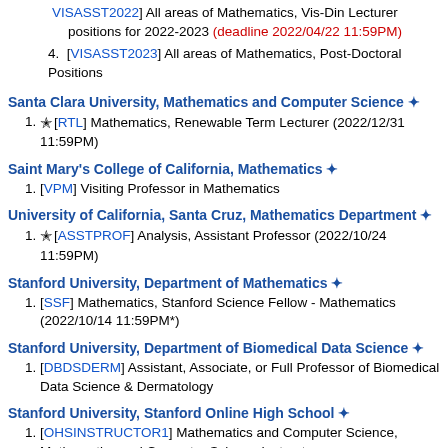[VISASST2022] All areas of Mathematics, Vis-Din Lecturer positions for 2022-2023 (deadline 2022/04/22 11:59PM)
[VISASST2023] All areas of Mathematics, Post-Doctoral Positions
Santa Clara University, Mathematics and Computer Science ❇
[RTL] Mathematics, Renewable Term Lecturer (2022/12/31 11:59PM)
Saint Mary's College of California, Mathematics ❇
[VPM] Visiting Professor in Mathematics
University of California, Santa Cruz, Mathematics Department ❇
[ASSTPROF] Analysis, Assistant Professor (2022/10/24 11:59PM)
Stanford University, Department of Mathematics ❇
[SSF] Mathematics, Stanford Science Fellow - Mathematics (2022/10/14 11:59PM*)
Stanford University, Department of Biomedical Data Science ❇
[DBDSDERM] Assistant, Associate, or Full Professor of Biomedical Data Science & Dermatology
Stanford University, Stanford Online High School ❇
[OHSINSTRUCTOR1] Mathematics and Computer Science, Mathematics and Computer Science Instructor